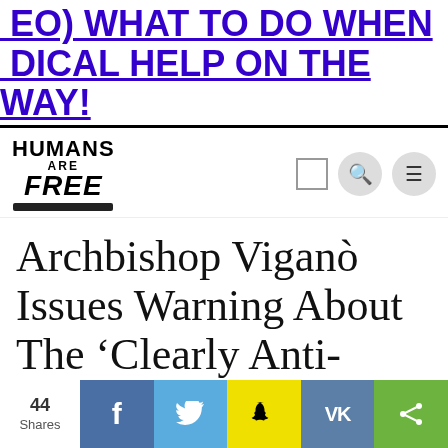EO) WHAT TO DO WHEN DICAL HELP ON THE WAY!
[Figure (logo): Humans Are Free website logo with navigation icons including search and menu]
Archbishop Viganò Issues Warning About The 'Clearly Anti-Human' New World Order Agenda
44 Shares — social share bar with Facebook, Twitter, Snapchat, VK, and general share buttons